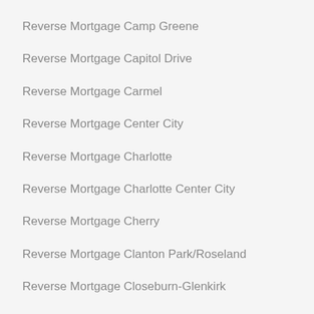Reverse Mortgage Camp Greene
Reverse Mortgage Capitol Drive
Reverse Mortgage Carmel
Reverse Mortgage Center City
Reverse Mortgage Charlotte
Reverse Mortgage Charlotte Center City
Reverse Mortgage Cherry
Reverse Mortgage Clanton Park/Roseland
Reverse Mortgage Closeburn-Glenkirk